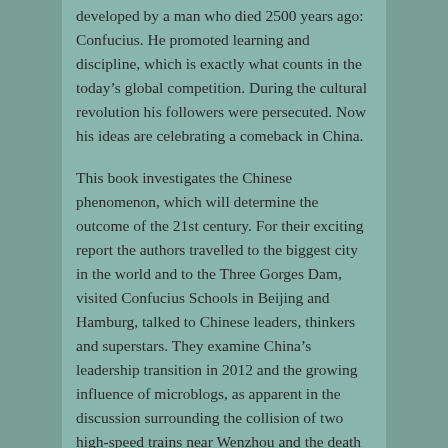developed by a man who died 2500 years ago: Confucius. He promoted learning and discipline, which is exactly what counts in the today’s global competition. During the cultural revolution his followers were persecuted. Now his ideas are celebrating a comeback in China.
This book investigates the Chinese phenomenon, which will determine the outcome of the 21st century. For their exciting report the authors travelled to the biggest city in the world and to the Three Gorges Dam, visited Confucius Schools in Beijing and Hamburg, talked to Chinese leaders, thinkers and superstars. They examine China’s leadership transition in 2012 and the growing influence of microblogs, as apparent in the discussion surrounding the collision of two high-speed trains near Wenzhou and the death of a two-year-old girl in Foshan.
Contents
China on the Ascent, the West on the Descent